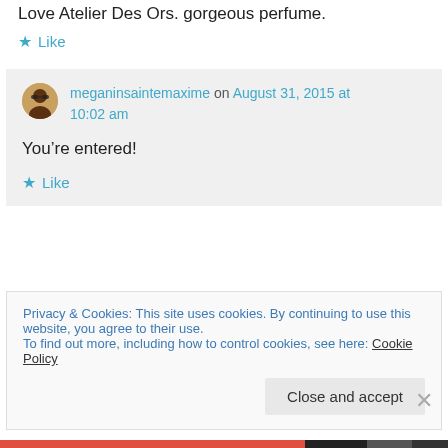Love Atelier Des Ors. gorgeous perfume.
★ Like
meganinsaintemaxime on August 31, 2015 at 10:02 am
You're entered!
★ Like
Privacy & Cookies: This site uses cookies. By continuing to use this website, you agree to their use. To find out more, including how to control cookies, see here: Cookie Policy
Close and accept